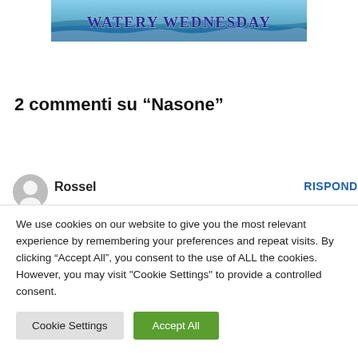[Figure (illustration): Banner image with watery/ocean background and text 'WATERY WEDNESDAY' written in blue handwritten-style letters]
2 commenti su “Nasone”
[Figure (other): Gray circular user avatar icon for user Rossel]
Rossel
RISPONDI
We use cookies on our website to give you the most relevant experience by remembering your preferences and repeat visits. By clicking “Accept All”, you consent to the use of ALL the cookies. However, you may visit "Cookie Settings" to provide a controlled consent.
Cookie Settings
Accept All